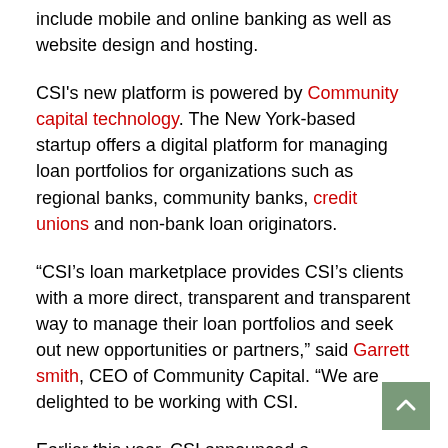include mobile and online banking as well as website design and hosting.
CSI's new platform is powered by Community capital technology. The New York-based startup offers a digital platform for managing loan portfolios for organizations such as regional banks, community banks, credit unions and non-bank loan originators.
“CSI’s loan marketplace provides CSI’s clients with a more direct, transparent and transparent way to manage their loan portfolios and seek out new opportunities or partners,” said Garrett smith, CEO of Community Capital. “We are delighted to be working with CSI.
Earlier this year, CSI announced a collaboration with Automatic books provide FIs with the technologies they need to help small business clients better manage their finances. “By partnering with Autobooks, we are providing our financial institution clients with a robust and cohesive platform that helps them